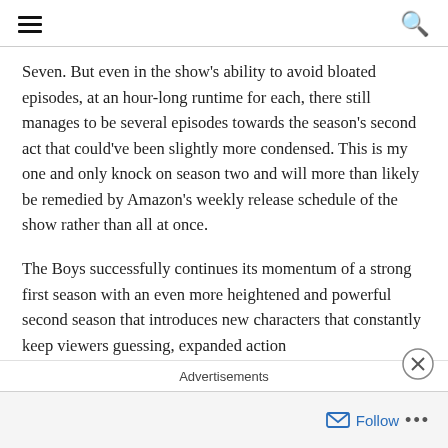[hamburger menu icon] [search icon]
Seven. But even in the show's ability to avoid bloated episodes, at an hour-long runtime for each, there still manages to be several episodes towards the season's second act that could've been slightly more condensed. This is my one and only knock on season two and will more than likely be remedied by Amazon's weekly release schedule of the show rather than all at once.
The Boys successfully continues its momentum of a strong first season with an even more heightened and powerful second season that introduces new characters that constantly keep viewers guessing, expanded action
Advertisements
Follow ...